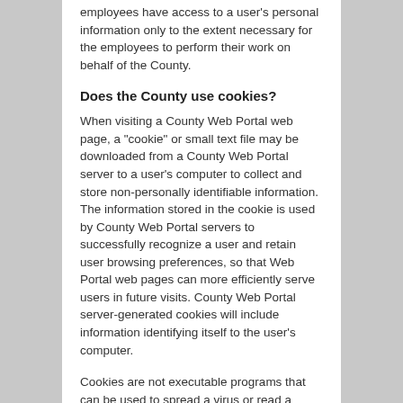employees have access to a user's personal information only to the extent necessary for the employees to perform their work on behalf of the County.
Does the County use cookies?
When visiting a County Web Portal web page, a "cookie" or small text file may be downloaded from a County Web Portal server to a user's computer to collect and store non-personally identifiable information. The information stored in the cookie is used by County Web Portal servers to successfully recognize a user and retain user browsing preferences, so that Web Portal web pages can more efficiently serve users in future visits. County Web Portal server-generated cookies will include information identifying itself to the user's computer.
Cookies are not executable programs that can be used to spread a virus or read a user's computer hard drive.